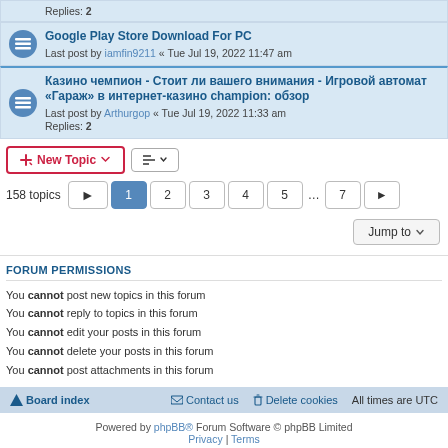Replies: 2
Google Play Store Download For PC
Last post by iamfin9211 « Tue Jul 19, 2022 11:47 am
Казино чемпион - Стоит ли вашего внимания - Игровой автомат «Гараж» в интернет-казино champion: обзор
Last post by Arthurgop « Tue Jul 19, 2022 11:33 am
Replies: 2
New Topic  |  158 topics  1 2 3 4 5 ... 7
Jump to
FORUM PERMISSIONS
You cannot post new topics in this forum
You cannot reply to topics in this forum
You cannot edit your posts in this forum
You cannot delete your posts in this forum
You cannot post attachments in this forum
Board index  |  Contact us  |  Delete cookies  |  All times are UTC
Powered by phpBB® Forum Software © phpBB Limited
Privacy | Terms